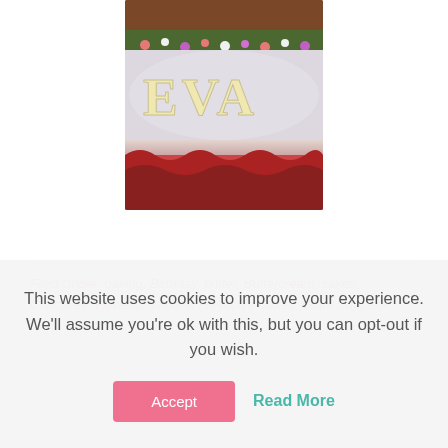[Figure (photo): Close-up photo of a decorated birthday cake with the name 'EVA' written in cream/yellow fondant letters on a silver/white base, surrounded by colorful sugar flowers and green piped grass, with a brown top and red decorations at the bottom.]
Filed Under: baking, Birthday, butter, Buttercream, cakes, Cupcakes, Flowers, fondant, Freycob's Cakes, Giant Cupcake
This website uses cookies to improve your experience. We'll assume you're ok with this, but you can opt-out if you wish.
Accept
Read More